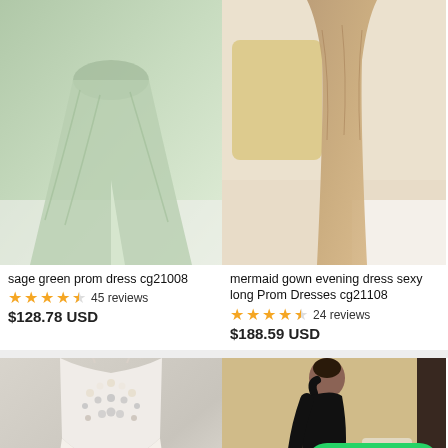[Figure (photo): Sage green satin prom dress with high slit, flowing fabric, worn by model on white floor]
[Figure (photo): Mermaid gown evening dress in taupe/mocha color with draped fabric near yellow chair]
sage green prom dress cg21008
★★★★☆ 45 reviews
$128.78 USD
mermaid gown evening dress sexy long Prom Dresses cg21108
★★★★☆ 24 reviews
$188.59 USD
[Figure (photo): White satin gown with pearl/crystal beaded bodice, spaghetti straps, close-up of torso]
[Figure (photo): Woman wearing black one-shoulder long sleeve mini dress with slit, standing in room]
Chat with us
Contact Us